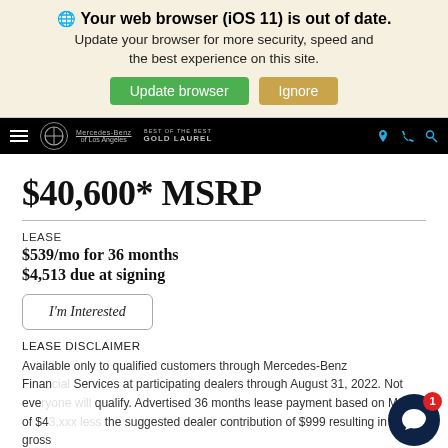Your web browser (iOS 11) is out of date. Update your browser for more security, speed and the best experience on this site.
$40,600* MSRP
LEASE
$539/mo for 36 months
$4,513 due at signing
I'm Interested
LEASE DISCLAIMER
Available only to qualified customers through Mercedes-Benz Financial Services at participating dealers through August 31, 2022. Not eve qualify. Advertised 36 months lease payment based on MSRP of $4 the suggested dealer contribution of $999 resulting in a total gross